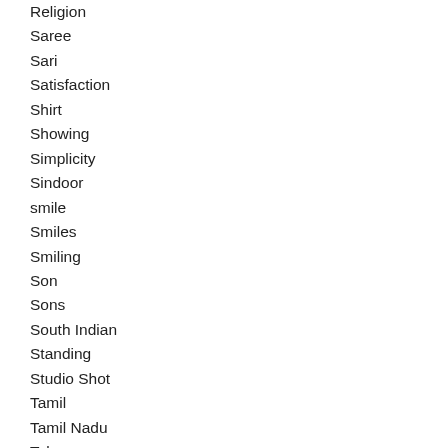Religion
Saree
Sari
Satisfaction
Shirt
Showing
Simplicity
Sindoor
smile
Smiles
Smiling
Son
Sons
South Indian
Standing
Studio Shot
Tamil
Tamil Nadu
Telugu
Three people
Tika
Togetherness
Tween